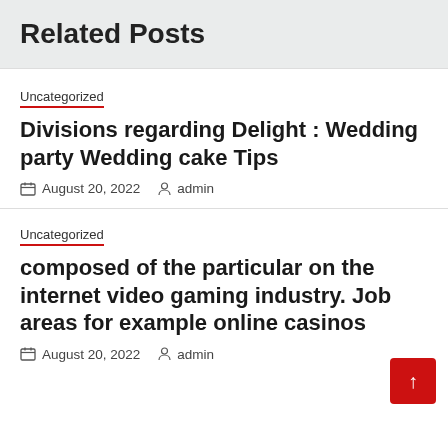Related Posts
Uncategorized
Divisions regarding Delight : Wedding party Wedding cake Tips
August 20, 2022  admin
Uncategorized
composed of the particular on the internet video gaming industry. Job areas for example online casinos
August 20, 2022  admin